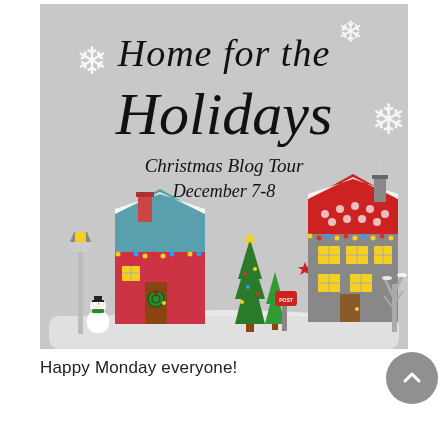[Figure (illustration): Home for the Holidays Christmas Blog Tour December 7-8 illustrated graphic with cartoon houses, snowman, Christmas trees, snowflakes on grey background]
Happy Monday everyone!